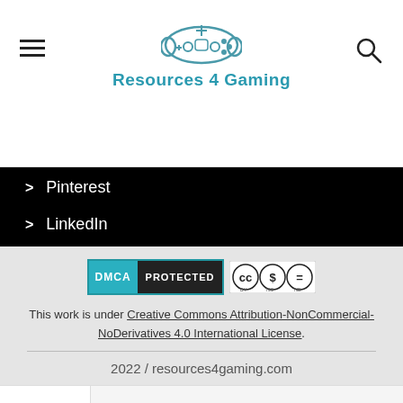Resources 4 Gaming
> Pinterest
> LinkedIn
[Figure (logo): DMCA Protected badge and Creative Commons Attribution-NonCommercial-NoDerivatives license badge]
This work is under Creative Commons Attribution-NonCommercial-NoDerivatives 4.0 International License.
2022 / resources4gaming.com
[Figure (infographic): Advertisement: Time For a Trim? Hair Cuttery with HC logo and navigation arrow icon]